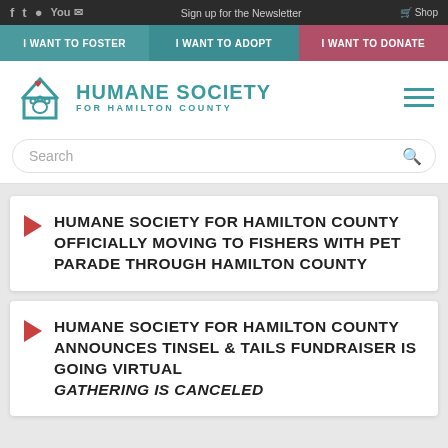f  Twitter  Instagram  YouTube/Email  Sign up for the Newsletter  Shop
I WANT TO FOSTER | I WANT TO ADOPT | I WANT TO DONATE
HUMANE SOCIETY FOR HAMILTON COUNTY
Search
HUMANE SOCIETY FOR HAMILTON COUNTY OFFICIALLY MOVING TO FISHERS WITH PET PARADE THROUGH HAMILTON COUNTY
HUMANE SOCIETY FOR HAMILTON COUNTY ANNOUNCES TINSEL & TAILS FUNDRAISER IS GOING VIRTUAL GATHERING IS CANCELED